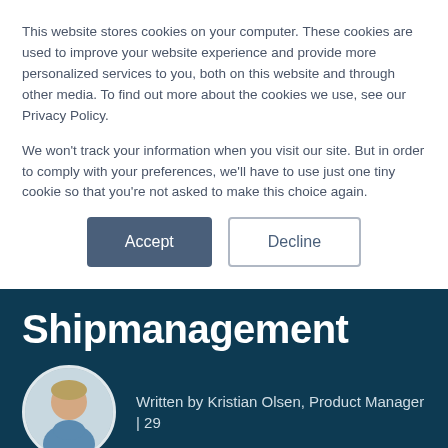This website stores cookies on your computer. These cookies are used to improve your website experience and provide more personalized services to you, both on this website and through other media. To find out more about the cookies we use, see our Privacy Policy.

We won't track your information when you visit our site. But in order to comply with your preferences, we'll have to use just one tiny cookie so that you're not asked to make this choice again.
Accept | Decline
Shipmanagement
Written by Kristian Olsen, Product Manager | 29
June 2021
[Figure (photo): Bottom strip showing a partial mechanical/industrial photo at very bottom of page]